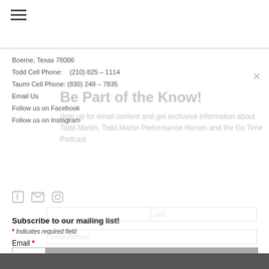[Figure (other): Hamburger menu icon (three horizontal lines)]
Boerne, Texas 78006
Todd Cell Phone:    (210) 825 – 1114
Taumi Cell Phone: (830) 249 – 7835
Email Us
Follow us on Facebook
Follow us on Instagram
Be Part of the Know!
Sign up for email content and get exclusive information about Todd Martin, Todd Martin Performance Horses and the Go Time Podcast
Subscribe to our mailing list!
* Indicates required field
Email *
Subscribe
I agree to receiving marketing and promotional materials *